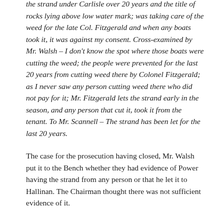the strand under Carlisle over 20 years and the title of rocks lying above low water mark; was taking care of the weed for the late Col. Fitzgerald and when any boats took it, it was against my consent. Cross-examined by Mr. Walsh – I don't know the spot where those boats were cutting the weed; the people were prevented for the last 20 years from cutting weed there by Colonel Fitzgerald; as I never saw any person cutting weed there who did not pay for it; Mr. Fitzgerald lets the strand early in the season, and any person that cut it, took it from the tenant. To Mr. Scannell – The strand has been let for the last 20 years.
The case for the prosecution having closed, Mr. Walsh put it to the Bench whether they had evidence of Power having the strand from any person or that he let it to Hallinan. The Chairman thought there was not sufficient evidence of it.